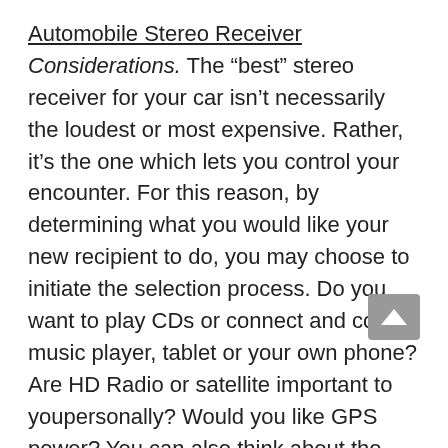Automobile Stereo Receiver Considerations. The "best" stereo receiver for your car isn't necessarily the loudest or most expensive. Rather, it's the one which lets you control your encounter. For this reason, by determining what you would like your new recipient to do, you may choose to initiate the selection process. Do you want to play CDs or connect and control music player, tablet or your own phone? Are HD Radio or satellite important to youpersonally? Would you like GPS power? You can also think about the capacity or connectivity to play DVDs to your passengers. Make certain to ascertain the measurements of the dashboard opening where your receiver will live. Installing adapters may be added to offer a comfy fit if the opening is too big. You wish to recognize your power needs. You want power to maximize your own speakers, but maybe not to create distortion. While power wattage is usually recorded.